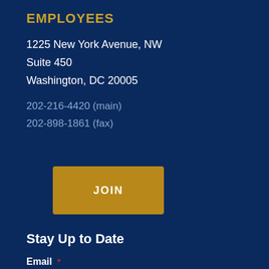EMPLOYEES
1225 New York Avenue, NW
Suite 450
Washington, DC 20005
202-216-4420 (main)
202-898-1861 (fax)
JOIN
Stay Up to Date
Email *
Name *